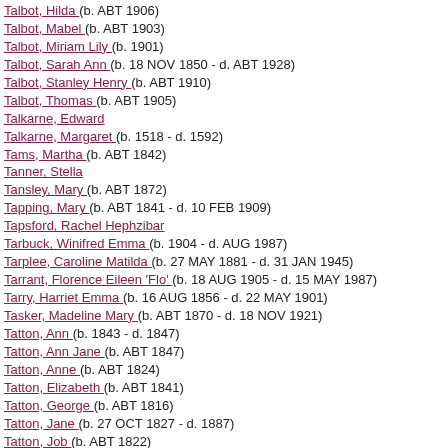Talbot, Hilda (b. ABT 1906)
Talbot, Mabel (b. ABT 1903)
Talbot, Miriam Lily (b. 1901)
Talbot, Sarah Ann (b. 18 NOV 1850 - d. ABT 1928)
Talbot, Stanley Henry (b. ABT 1910)
Talbot, Thomas (b. ABT 1905)
Talkarne, Edward
Talkarne, Margaret (b. 1518 - d. 1592)
Tams, Martha (b. ABT 1842)
Tanner, Stella
Tansley, Mary (b. ABT 1872)
Tapping, Mary (b. ABT 1841 - d. 10 FEB 1909)
Tapsford, Rachel Hephzibar
Tarbuck, Winifred Emma (b. 1904 - d. AUG 1987)
Tarplee, Caroline Matilda (b. 27 MAY 1881 - d. 31 JAN 1945)
Tarrant, Florence Eileen 'Flo' (b. 18 AUG 1905 - d. 15 MAY 1987)
Tarry, Harriet Emma (b. 16 AUG 1856 - d. 22 MAY 1901)
Tasker, Madeline Mary (b. ABT 1870 - d. 18 NOV 1921)
Tatton, Ann (b. 1843 - d. 1847)
Tatton, Ann Jane (b. ABT 1847)
Tatton, Anne (b. ABT 1824)
Tatton, Elizabeth (b. ABT 1841)
Tatton, George (b. ABT 1816)
Tatton, Jane (b. 27 OCT 1827 - d. 1887)
Tatton, Job (b. ABT 1822)